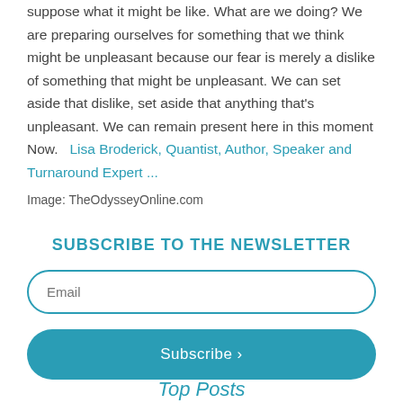suppose what it might be like. What are we doing? We are preparing ourselves for something that we think might be unpleasant because our fear is merely a dislike of something that might be unpleasant. We can set aside that dislike, set aside that anything that's unpleasant. We can remain present here in this moment Now.   Lisa Broderick, Quantist, Author, Speaker and Turnaround Expert ...
Image: TheOdysseyOnline.com
SUBSCRIBE TO THE NEWSLETTER
Top Posts